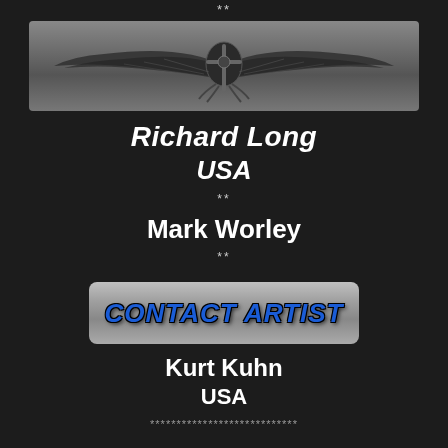**
[Figure (logo): A stylized Egyptian-themed winged emblem logo on a gray gradient background banner]
Richard Long
USA
**
Mark Worley
**
[Figure (logo): A metallic silver button/banner with blue bold italic text reading CONTACT ARTIST]
Kurt Kuhn
USA
****************************